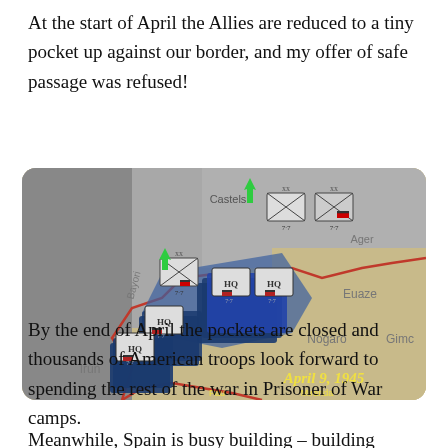At the start of April the Allies are reduced to a tiny pocket up against our border, and my offer of safe passage was refused!
[Figure (screenshot): A hexagonal wargame map screenshot dated April 9, 1945, showing Allied (blue) and Axis (grey) military unit counters near the Spanish border. Location names visible include Castels, Bayonne, Euaze, Nogaro, Gimone, Irun, Miranda. Multiple HQ and XX division counters are shown stacked.]
By the end of April the pockets are closed and thousands of American troops look forward to spending the rest of the war in Prisoner of War camps.
Meanwhile, Spain is busy building – building many